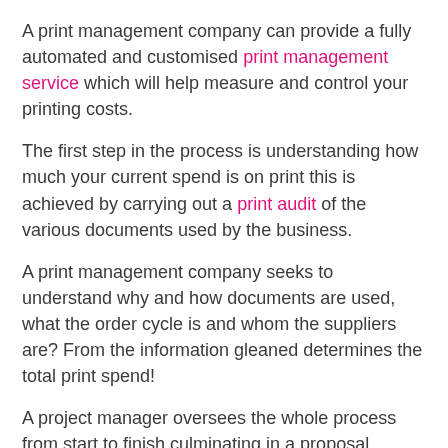A print management company can provide a fully automated and customised print management service which will help measure and control your printing costs.
The first step in the process is understanding how much your current spend is on print this is achieved by carrying out a print audit of the various documents used by the business.
A print management company seeks to understand why and how documents are used, what the order cycle is and whom the suppliers are? From the information gleaned determines the total print spend!
A project manager oversees the whole process from start to finish culminating in a proposal detailing current print costs V cost savings on the various print items ordered.
Emphasis will be to demonstrate cost savings through efficiency driven processes.
Each quarter, a review of the usage of the various items is undertaken to see where further cost savings can be made. Managing your company print usage and spend